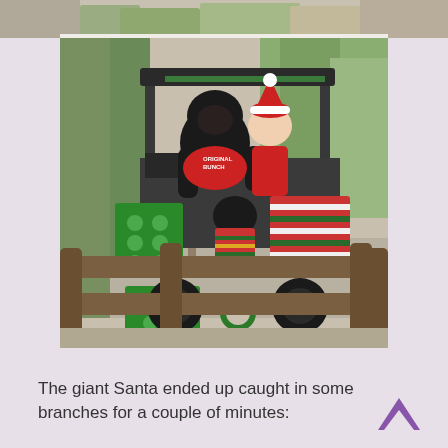[Figure (photo): Partial top strip of an outdoor photo showing trees and foliage.]
[Figure (photo): A golf cart decorated for Christmas with wrapped gifts and holiday items. People dressed in costumes including a large black gorilla/bear suit and someone wearing a red Santa hat are riding in the cart. A wooden fence is in the foreground and trees line the background.]
The giant Santa ended up caught in some branches for a couple of minutes: